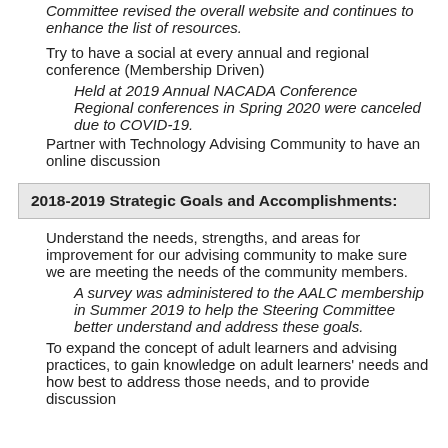Committee revised the overall website and continues to enhance the list of resources.
Try to have a social at every annual and regional conference (Membership Driven)
Held at 2019 Annual NACADA Conference
Regional conferences in Spring 2020 were canceled due to COVID-19.
Partner with Technology Advising Community to have an online discussion
2018-2019 Strategic Goals and Accomplishments:
Understand the needs, strengths, and areas for improvement for our advising community to make sure we are meeting the needs of the community members.
A survey was administered to the AALC membership in Summer 2019 to help the Steering Committee better understand and address these goals.
To expand the concept of adult learners and advising practices, to gain knowledge on adult learners' needs and how best to address those needs, and to provide discussion